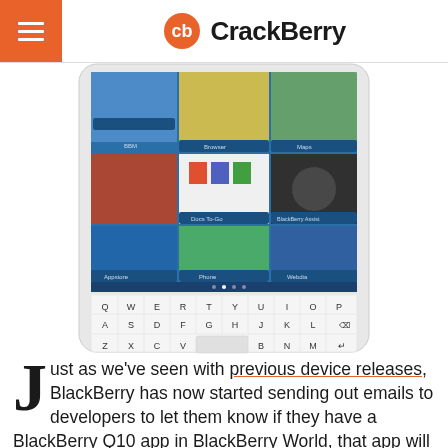CrackBerry
[Figure (photo): BlackBerry Passport smartphone showing multitasking screen with physical QWERTY keyboard]
Just as we've seen with previous device releases, BlackBerry has now started sending out emails to developers to let them know if they have a BlackBerry Q10 app in BlackBerry World, that app will automatically be listed as compatible for the upcoming